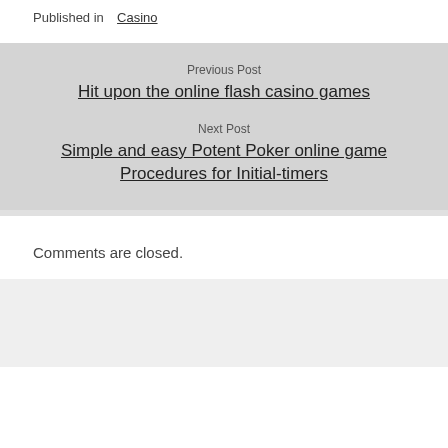Published in Casino
Previous Post
Hit upon the online flash casino games
Next Post
Simple and easy Potent Poker online game Procedures for Initial-timers
Comments are closed.